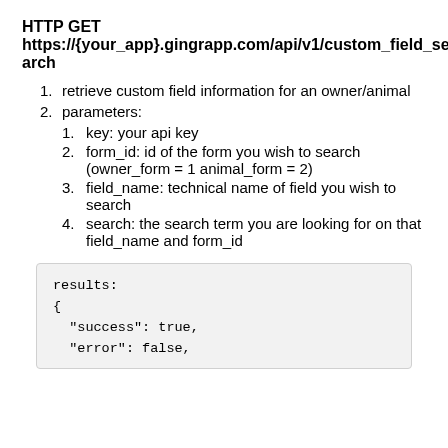HTTP GET
https://{your_app}.gingrapp.com/api/v1/custom_field_search
retrieve custom field information for an owner/animal
parameters:
key: your api key
form_id: id of the form you wish to search (owner_form = 1 animal_form = 2)
field_name: technical name of field you wish to search
search: the search term you are looking for on that field_name and form_id
results:
{
  "success": true,
  "error": false,